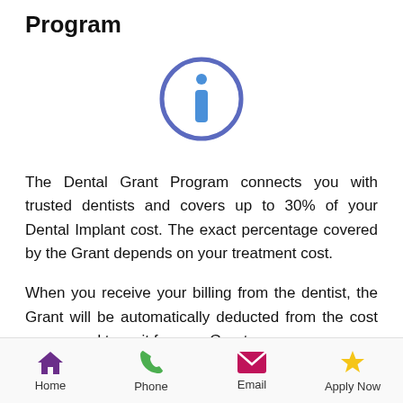Program
[Figure (illustration): Blue outlined circle with a lowercase letter 'i' (information icon) in blue]
The Dental Grant Program connects you with trusted dentists and covers up to 30% of your Dental Implant cost. The exact percentage covered by the Grant depends on your treatment cost.
When you receive your billing from the dentist, the Grant will be automatically deducted from the cost so no need to wait for your Grant
Home   Phone   Email   Apply Now